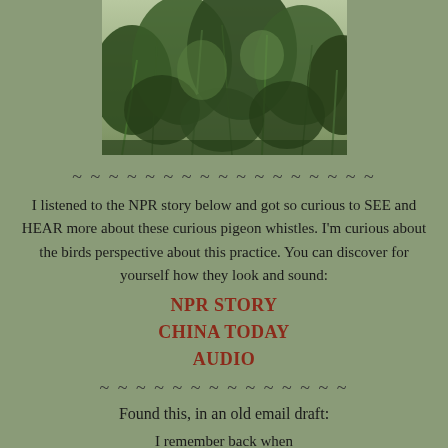[Figure (photo): Photograph of green plants/shrubs, appears to be dense foliage or hedging plants, top portion of the image]
~ ~ ~ ~ ~ ~ ~ ~ ~ ~ ~ ~ ~ ~ ~ ~ ~
I listened to the NPR story below and got so curious to SEE and HEAR more about these curious pigeon whistles. I'm curious about the birds perspective about this practice. You can discover for yourself how they look and sound:
NPR STORY
CHINA TODAY
AUDIO
~ ~ ~ ~ ~ ~ ~ ~ ~ ~ ~ ~ ~ ~
Found this, in an old email draft:
I remember back when
I had hair and cartilage